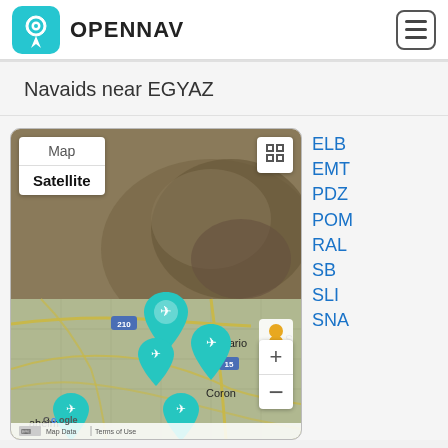OPENNAV
Navaids near EGYAZ
[Figure (map): Satellite map showing the area near EGYAZ with airport/navaid markers (teal airplane pins) over a satellite view showing Ontario, Corona, Anaheim area. Map controls include Map/Satellite toggle, fullscreen button, zoom in/out buttons, and street view pegman. Google branding and Map Data / Terms of Use footer visible. Route 210 visible. Multiple teal navaid markers placed on the map.]
ELB
EMT
PDZ
POM
RAL
SB
SLI
SNA